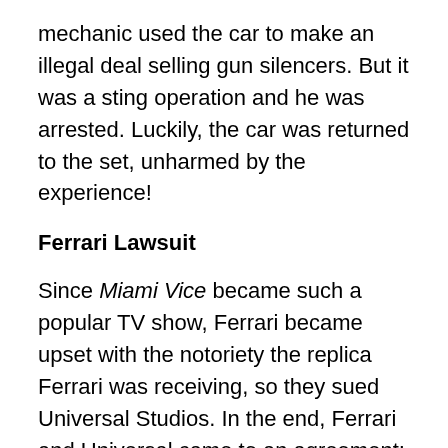mechanic used the car to make an illegal deal selling gun silencers. But it was a sting operation and he was arrested. Luckily, the car was returned to the set, unharmed by the experience!
Ferrari Lawsuit
Since Miami Vice became such a popular TV show, Ferrari became upset with the notoriety the replica Ferrari was receiving, so they sued Universal Studios. In the end, Ferrari and Universal came to an agreement; they would get rid of the Daytona in the storyline. This would ostensibly make people forget about the Daytona. Ferrari would then donate two new Testarossa's to take place of the Daytona's in the show. But how would they make Sonny's Daytona disappear from the storyline? The answer was simple. Blow it up on the show! Disclaimer: